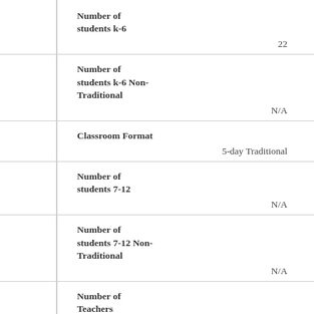| Field | Value |
| --- | --- |
| Number of students k-6 | 22 |
| Number of students k-6 Non-Traditional | N/A |
| Classroom Format | 5-day Traditional |
| Number of students 7-12 | N/A |
| Number of students 7-12 Non-Traditional | N/A |
| Number of Teachers |  |